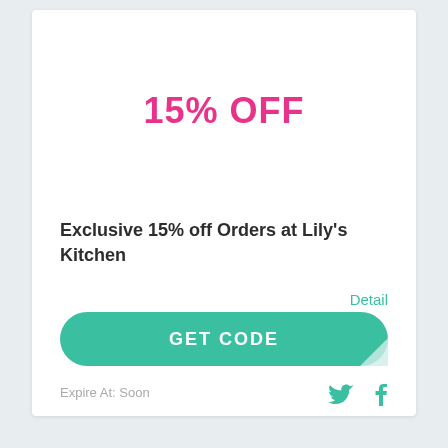15% OFF
Exclusive 15% off Orders at Lily's Kitchen
Detail
GET CODE
Expire At: Soon